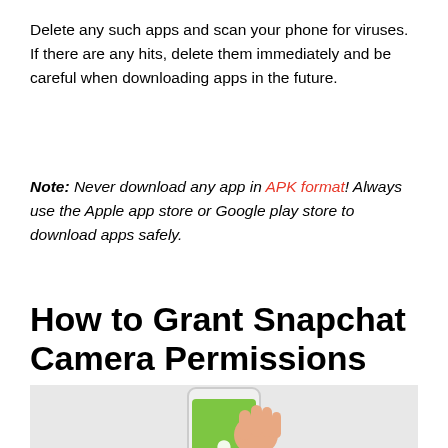Delete any such apps and scan your phone for viruses. If there are any hits, delete them immediately and be careful when downloading apps in the future.
Note: Never download any app in APK format! Always use the Apple app store or Google play store to download apps safely.
How to Grant Snapchat Camera Permissions
[Figure (photo): A hand holding a white smartphone displaying the Snapchat app with a green screen and ghost logo, with a pink/red bar at the bottom of the phone screen.]